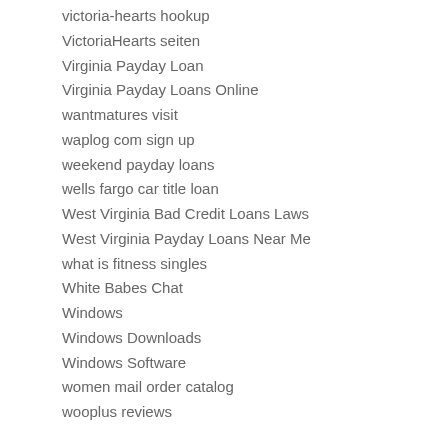victoria-hearts hookup
VictoriaHearts seiten
Virginia Payday Loan
Virginia Payday Loans Online
wantmatures visit
waplog com sign up
weekend payday loans
wells fargo car title loan
West Virginia Bad Credit Loans Laws
West Virginia Payday Loans Near Me
what is fitness singles
White Babes Chat
Windows
Windows Downloads
Windows Software
women mail order catalog
wooplus reviews